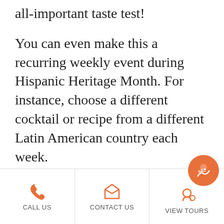all-important taste test!
You can even make this a recurring weekly event during Hispanic Heritage Month. For instance, choose a different cocktail or recipe from a different Latin American country each week.
To help you choose your recipe, check out HipLatina's list of national cocktails of every Latin
CALL US   CONTACT US   VIEW TOURS